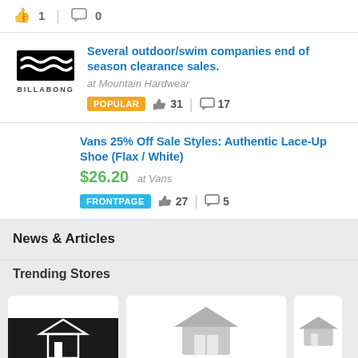👍 1  💬 0
Several outdoor/swim companies end of season clearance sales. at Mountain Hardwear POPULAR 👍 31 | 💬 17
Vans 25% Off Sale Styles: Authentic Lace-Up Shoe (Flax / White) $26.20 at Vans FRONTPAGE 👍 27 | 💬 5
News & Articles
Trending Stores
[Figure (logo): Billabong brand logo with stylized wave mark and BILLABONG text below]
[Figure (other): Three store card thumbnails partially visible, first with black background store image, second and third showing store icons in gray]